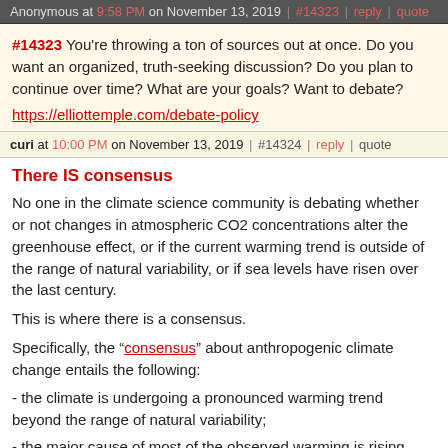Anonymous at 9:58 PM on November 13, 2019 | #14323 | reply | quote
#14323 You're throwing a ton of sources out at once. Do you want an organized, truth-seeking discussion? Do you plan to continue over time? What are your goals? Want to debate? https://elliottemple.com/debate-policy
curi at 10:00 PM on November 13, 2019 | #14324 | reply | quote
There IS consensus
No one in the climate science community is debating whether or not changes in atmospheric CO2 concentrations alter the greenhouse effect, or if the current warming trend is outside of the range of natural variability, or if sea levels have risen over the last century.
This is where there is a consensus.
Specifically, the “consensus” about anthropogenic climate change entails the following:
- the climate is undergoing a pronounced warming trend beyond the range of natural variability;
- the major cause of most of the observed warming is rising levels of the greenhouse gas CO2;